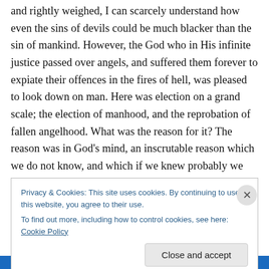and rightly weighed, I can scarcely understand how even the sins of devils could be much blacker than the sin of mankind. However, the God who in His infinite justice passed over angels, and suffered them forever to expiate their offences in the fires of hell, was pleased to look down on man. Here was election on a grand scale; the election of manhood, and the reprobation of fallen angelhood. What was the reason for it? The reason was in God’s mind, an inscrutable reason which we do not know, and which if we knew probably we could not understand. Had you and I been put upon the choice of which should have
Privacy & Cookies: This site uses cookies. By continuing to use this website, you agree to their use.
To find out more, including how to control cookies, see here: Cookie Policy